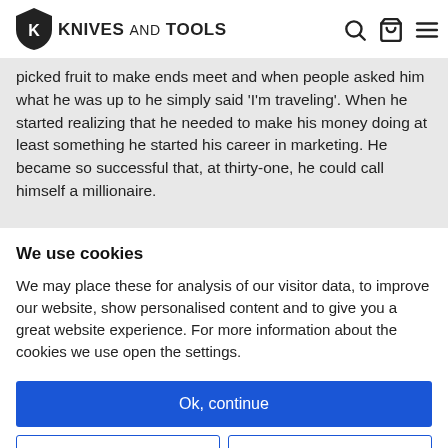KNIVES AND TOOLS
picked fruit to make ends meet and when people asked him what he was up to he simply said 'I'm traveling'. When he started realizing that he needed to make his money doing at least something he started his career in marketing. He became so successful that, at thirty-one, he could call himself a millionaire.
We use cookies
We may place these for analysis of our visitor data, to improve our website, show personalised content and to give you a great website experience. For more information about the cookies we use open the settings.
Ok, continue
Deny
No, adjust